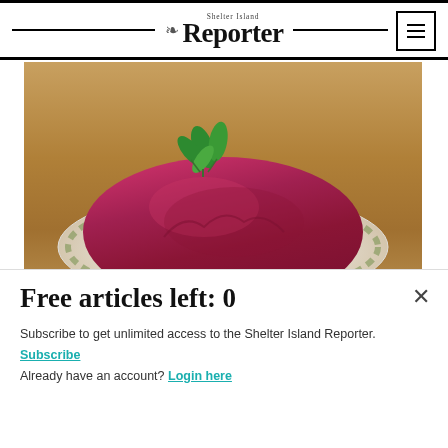Shelter Island Reporter
[Figure (photo): A deep magenta/purple beet dish or mousse served on a white plate with green floral pattern, garnished with fresh mint leaves on top, placed on a wooden table surface.]
09.04.2022 AROUND THE ISLAND
Summer by the forkful
Free articles left: 0
Subscribe to get unlimited access to the Shelter Island Reporter. Subscribe
Already have an account? Login here